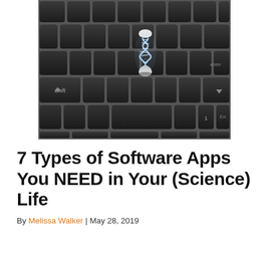[Figure (photo): Close-up photo of a dark laptop keyboard with black keys, featuring a small DNA double helix / hourglass hybrid figurine standing on one of the keys. The image is taken at an angle showing keys including Shift and End.]
7 Types of Software Apps You NEED in Your (Science) Life
By Melissa Walker  |  May 28, 2019